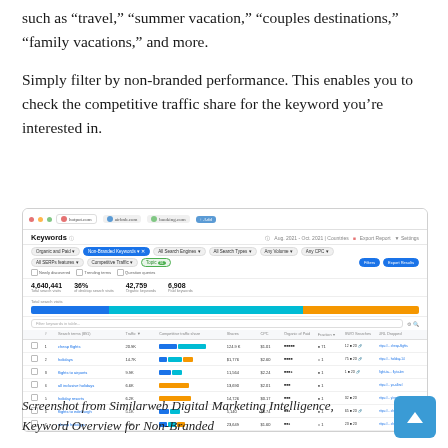such as “travel,” “summer vacation,” “couples destinations,” “family vacations,” and more.
Simply filter by non-branded performance. This enables you to check the competitive traffic share for the keyword you’re interested in.
[Figure (screenshot): Screenshot of Similarweb Digital Marketing Intelligence showing Keywords section filtered by Non-Branded Keywords, with stats: 4,640,441 Total search visits, 36% of desktop search visits, 42,759 Organic Keywords, 6,908 Paid Keywords, and a table of keyword data with competitive traffic share bars.]
Screenshot from Similarweb Digital Marketing Intelligence, Keyword Overview for Non-Branded